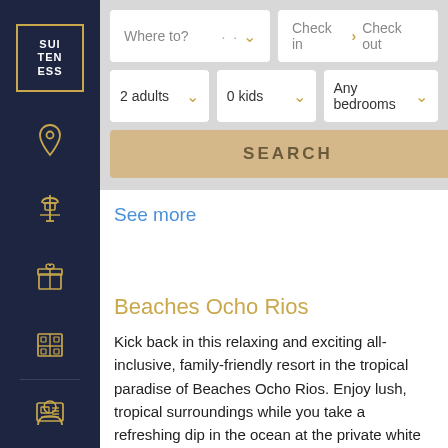[Figure (logo): Suiteness logo — white text SUI TEN ESS in a gold-bordered box on dark navy sidebar]
[Figure (illustration): Sidebar navigation icons: location pin, control tower, gift box, hotel building, screen/monitor, and user profile — all in gold outline on dark navy background]
Where to?
Check in > Check out
2 adults
0 kids
Any bedrooms
SEARCH
See more
Beaches Ocho Rios
Kick back in this relaxing and exciting all-inclusive, family-friendly resort in the tropical paradise of Beaches Ocho Rios. Enjoy lush, tropical surroundings while you take a refreshing dip in the ocean at the private white sand beach or take a dip in one of the